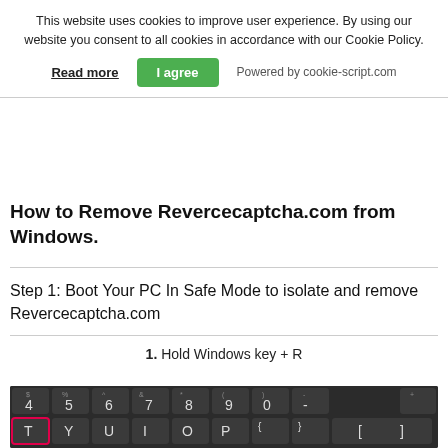This website uses cookies to improve user experience. By using our website you consent to all cookies in accordance with our Cookie Policy.
Read more   I agree   Powered by cookie-script.com
How to Remove Revercecaptcha.com from Windows.
Step 1: Boot Your PC In Safe Mode to isolate and remove Revercecaptcha.com
1. Hold Windows key + R
[Figure (screenshot): A dark keyboard screenshot showing keys: 4, 5, 6, 7, 8, 9, 0, -, T, Y, U, I, O, P, {, }, [, ], G, H, I, K, L with the T key highlighted with a pink/red border.]